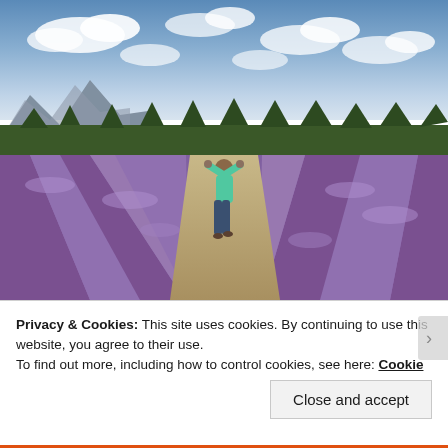[Figure (photo): A person standing with arms raised in a lavender field, viewed from behind. Rows of purple lavender plants stretch to the horizon under a partly cloudy sky. A treeline and mountains are visible in the background.]
Privacy & Cookies: This site uses cookies. By continuing to use this website, you agree to their use.
To find out more, including how to control cookies, see here: Cookie Policy
Close and accept